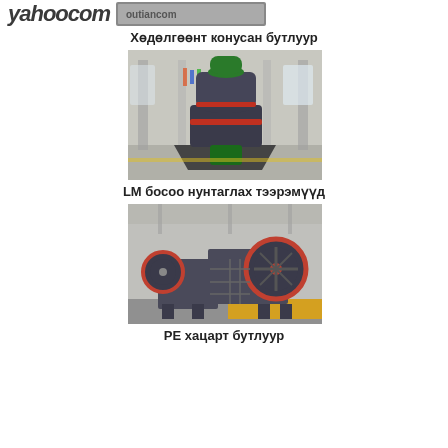yahoocom [logo/image]
Хөдөлгөөнт конусан бутлуур
[Figure (photo): Industrial vertical mill machine (LM bosoo grinding mill) in a factory hall with flags in the background]
LM босоо нунтаглах тээрэмүүд
[Figure (photo): PE jaw crusher machine in a factory setting with orange/red flywheel, on yellow platform]
РЕ хацарт бутлуур